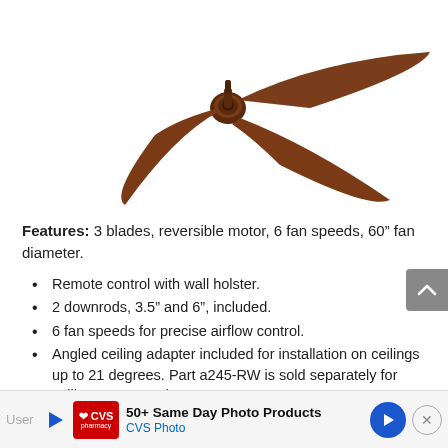[Figure (photo): A ceiling fan with 3 dark walnut/brown blades and a central motor hub, shown from slightly above on a white background. The fan has no light kit.]
Features: 3 blades, reversible motor, 6 fan speeds, 60" fan diameter.
Remote control with wall holster.
2 downrods, 3.5" and 6", included.
6 fan speeds for precise airflow control.
Angled ceiling adapter included for installation on ceilings up to 21 degrees. Part a245-RW is sold separately for ceilings up to 45 degrees.
[Figure (screenshot): CVS Photo advertisement banner: '50+ Same Day Photo Products' with CVS Pharmacy logo and direction arrow icon, plus close button.]